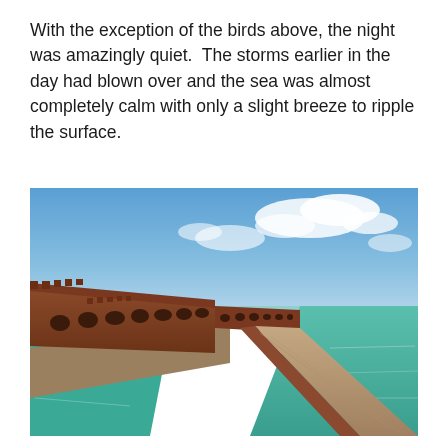With the exception of the birds above, the night was amazingly quiet.  The storms earlier in the day had blown over and the sea was almost completely calm with only a slight breeze to ripple the surface.
[Figure (photo): A wide-angle photograph of Fort Jefferson (Dry Tortugas), showing the massive brick fort wall with arched openings receding into the distance along the left side, flanked by calm turquoise/teal water on both sides. A concrete and brick walkway/pier runs along the right side toward the fort. Blue sky with scattered white clouds fills the upper portion of the image.]